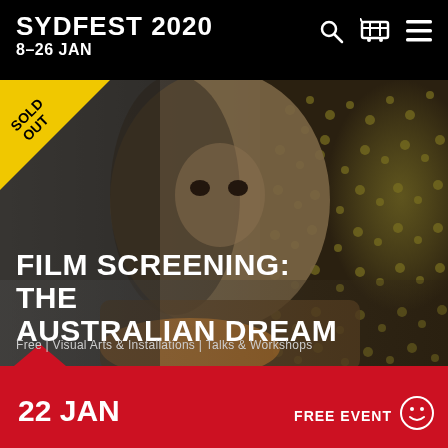SYDFEST 2020
8–26 JAN
[Figure (photo): Close-up portrait of a man's face with Indigenous Australian dot painting artwork visible in the background, dark dramatic lighting, styled as a film promotional image.]
FILM SCREENING: THE AUSTRALIAN DREAM
Free | Visual Arts & Installations | Talks & Workshops
22 JAN
FREE EVENT